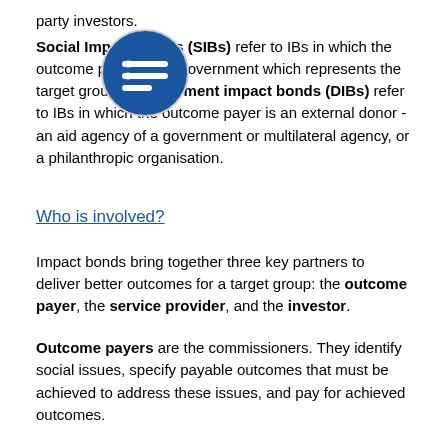party investors.
Social Impact Bonds (SIBs) refer to IBs in which the outcome payer is the government which represents the target group. Development impact bonds (DIBs) refer to IBs in which the outcome payer is an external donor - an aid agency of a government or multilateral agency, or a philanthropic organisation.
Who is involved?
Impact bonds bring together three key partners to deliver better outcomes for a target group: the outcome payer, the service provider, and the investor.
Outcome payers are the commissioners. They identify social issues, specify payable outcomes that must be achieved to address these issues, and pay for achieved outcomes.